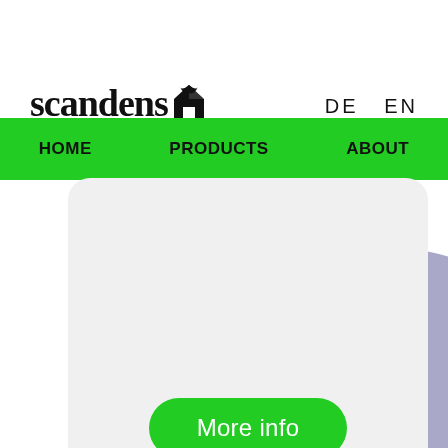[Figure (logo): Scandens logo with stylized house/leaf icon in black]
DE  EN
HOME    PRODUCTS    ABOUT
[Figure (illustration): Light purple/lavender rounded shape in lower right corner]
[Figure (screenshot): Light gray rounded card with a green 'More info' pill button in the center]
More info